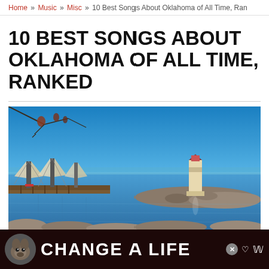Home » Music » Misc » 10 Best Songs About Oklahoma of All Time, Ran
10 BEST SONGS ABOUT OKLAHOMA OF ALL TIME, RANKED
[Figure (photo): A marina with sailboats docked on the left and a lighthouse on the right, set on a calm blue lake under a clear blue sky, with rocky breakwaters extending into the water.]
[Figure (infographic): Advertisement banner with a dark/maroon background showing a dog image on the left, bold white text 'CHANGE A LIFE' in the center, an X close button, a heart icon, and a logo on the right.]